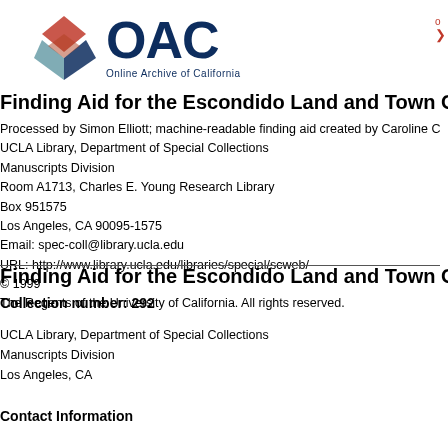[Figure (logo): OAC Online Archive of California logo with geometric diamond shapes in red, navy, and teal, and large OAC text]
Finding Aid for the Escondido Land and Town Compa
Processed by Simon Elliott; machine-readable finding aid created by Caroline C
UCLA Library, Department of Special Collections
Manuscripts Division
Room A1713, Charles E. Young Research Library
Box 951575
Los Angeles, CA 90095-1575
Email: spec-coll@library.ucla.edu
URL: http://www.library.ucla.edu/libraries/special/scweb/
© 1999
The Regents of the University of California. All rights reserved.
Finding Aid for the Escondido Land and Town Company
Collection number: 292
UCLA Library, Department of Special Collections
Manuscripts Division
Los Angeles, CA
Contact Information